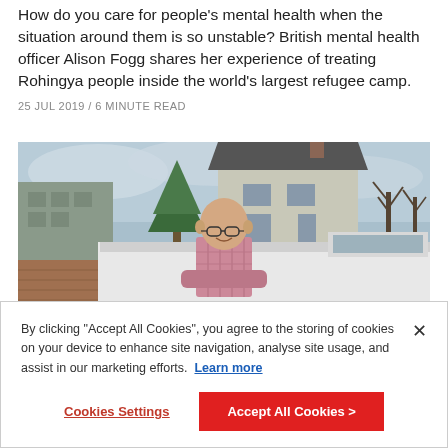How do you care for people's mental health when the situation around them is so unstable? British mental health officer Alison Fogg shares her experience of treating Rohingya people inside the world's largest refugee camp.
25 JUL 2019 / 6 MINUTE READ
[Figure (photo): A bald man with glasses, arms crossed, standing in front of a white van and a house with trees in the background, outdoors in winter or early spring.]
By clicking "Accept All Cookies", you agree to the storing of cookies on your device to enhance site navigation, analyse site usage, and assist in our marketing efforts.  Learn more
Cookies Settings
Accept All Cookies >